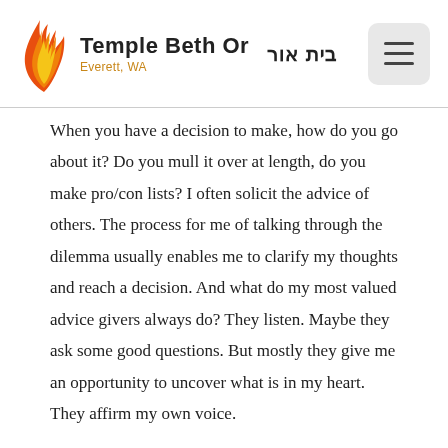Temple Beth Or | Everett, WA | בית אור
When you have a decision to make, how do you go about it? Do you mull it over at length, do you make pro/con lists? I often solicit the advice of others. The process for me of talking through the dilemma usually enables me to clarify my thoughts and reach a decision. And what do my most valued advice givers always do? They listen. Maybe they ask some good questions. But mostly they give me an opportunity to uncover what is in my heart. They affirm my own voice.
Do the Urim and Tummim give direction through their own will or divine wisdom, or is something deeper occurring? As Rabbi Mellen concedes, oracles typically require interpretation. And even when an